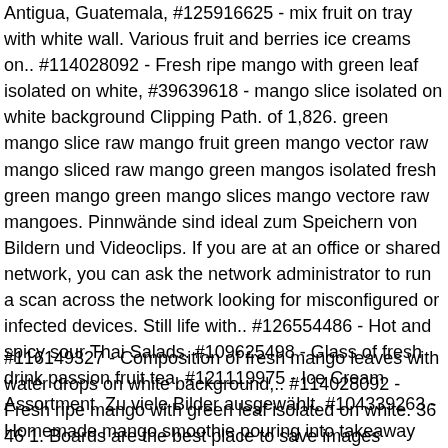Antigua, Guatemala, #125916625 - mix fruit on tray with white wall. Various fruit and berries ice creams on.. #114028092 - Fresh ripe mango with green leaf isolated on white, #39639618 - mango slice isolated on white background Clipping Path. of 1,826. green mango slice raw mango fruit green mango vector raw mango sliced raw mango green mangos isolated fresh green mango green mango slices mango vectore raw mangoes. Pinnwände sind ideal zum Speichern von Bildern und Videoclips. If you are at an office or shared network, you can ask the network administrator to run a scan across the network looking for misconfigured or infected devices. Still life with.. #126554486 - Hot and spicy sour Thai Salads. #109625498 - Glass of fresh drink passion fruit tea. #121119975 - Ice Cream Assortment. Zu viele Bilder ausgewählt. #104339263 - Homemade mango smoothie pouring into takeaway cup with fresh.. #109945532 - Mango Juice Advertising Banner Ads Vector Template Design.
#116149327 - Composition of fresh mango leaves with water drops on white background,.. #114028092 - Fresh ripe mango with green leaf isolated on white. 36 46 1. Boards are the best place to save images